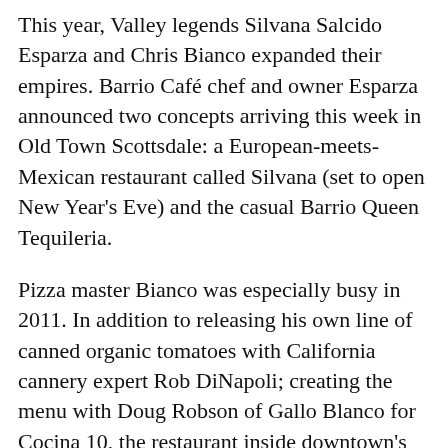This year, Valley legends Silvana Salcido Esparza and Chris Bianco expanded their empires. Barrio Café chef and owner Esparza announced two concepts arriving this week in Old Town Scottsdale: a European-meets-Mexican restaurant called Silvana (set to open New Year's Eve) and the casual Barrio Queen Tequileria.
Pizza master Bianco was especially busy in 2011. In addition to releasing his own line of canned organic tomatoes with California cannery expert Rob DiNapoli; creating the menu with Doug Robson of Gallo Blanco for Cocina 10, the restaurant inside downtown's new music venue, Crescent Ballroom; expanding his sandwich and salad shop, Pane Bianco, by taking over the space next-door that had been Lux and adding dinner; and opening Pizzeria Bianco for lunch; Bianco partnered with British celeb chef Jamie Oliver to open a restaurant in London called Union Jacks, featuring wood-fired flatbreads with British ingredients. Bianco also announced plans to open a trattoria in Central